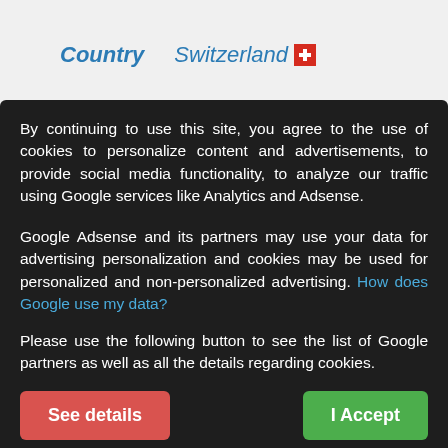Country   Switzerland
State / Region   Zurich
By continuing to use this site, you agree to the use of cookies to personalize content and advertisements, to provide social media functionality, to analyze our traffic using Google services like Analytics and Adsense.
Google Adsense and its partners may use your data for advertising personalization and cookies may be used for personalized and non-personalized advertising. How does Google use my data?
Please use the following button to see the list of Google partners as well as all the details regarding cookies.
See details
I Accept
These cookies are mandatory for the operation of isn-services.com, if you do not accept them please quit this site.
You have the right to refuse cookies and leave the site or to change the parameters.